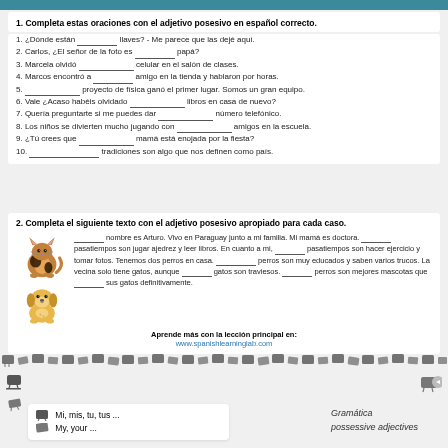1. Completa estas oraciones con el adjetivo posesivo en español correcto.
1. ¿Dónde están ________ llaves? - Me parece que las dejé aquí.
2. Carlos, ¿El señor de la foto es ________ papá?
3. Marcela olvidó __________ celular en el salón de clases.
4. Marcos encontró a ________ amigo en la tienda y hablaron por horas.
5. __________ proyecto de física ganó el primer lugar. Somos un gran equipo.
6. Vale ¿Acaso habéis olvidado __________ libros en casa de nuevo?
7. Quería preguntarte si me puedes dar __________ número telefónico.
8. Los niños se divierten mucho jugando con __________ amigos en la escuela.
9. ¿Tú crees que __________ mamá está enojada por la fiesta?
10. ______________ tradiciones son algo que nos definen como país.
2. Completa el siguiente texto con el adjetivo posesivo apropiado para cada caso.
________ nombre es Arturo. Vivo en Paraguay junto a mi familia. Mi mamá es doctora. ________ pasatiempos son jugar ajedrez y leer libros. En cuanto a mi, ________ pasatiempos son hacer ejercicio y tomar fotos. Tenemos dos perros en casa. ____________ perros son muy educados y saben varios trucos. La vecina solo tiene gatos, aunque ________ gatos son traviesos. __________ perros son mejores mascotas que __________ sus gatos definitivamente.
Aprende más con la lección principal en: www.spanishlearninglab.com
Mi, mis, tu, tus ... My, your ...
Gramática possessive adjectives